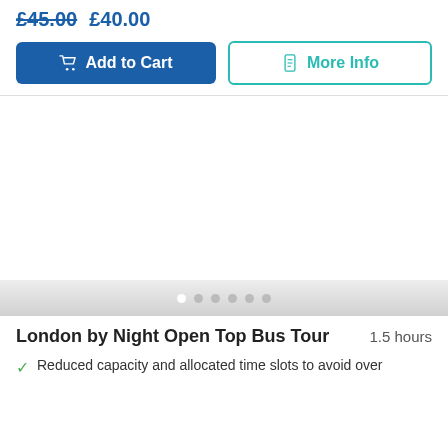£45.00  £40.00
Add to Cart   More Info
[Figure (photo): White/blank image area with a carousel navigation dot row at the bottom on a light grey gradient strip. The first dot is white (active) and five others are grey.]
London by Night Open Top Bus Tour   1.5 hours
Reduced capacity and allocated time slots to avoid over